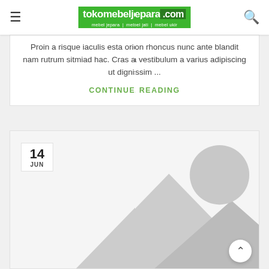tokomebeljepara.com | mebel jepara | mebel jati | mebel ukir
Proin a risque iaculis esta orion rhoncus nunc ante blandit nam rutrum sitmiad hac. Cras a vestibulum a varius adipiscing ut dignissim ...
CONTINUE READING
[Figure (illustration): Placeholder image with grey mountain silhouettes and a grey circle representing a photo placeholder, with a date badge showing 14 JUN in the top-left corner]